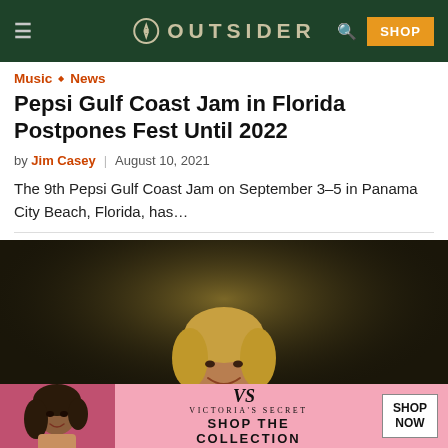OUTSIDER — navigation bar with hamburger menu, logo, search icon, and SHOP button
Music ◇ News
Pepsi Gulf Coast Jam in Florida Postpones Fest Until 2022
by Jim Casey  |  August 10, 2021
The 9th Pepsi Gulf Coast Jam on September 3–5 in Panama City Beach, Florida, has…
[Figure (photo): A blond-haired male performer on a dark stage, smiling, wearing a dark jacket — likely country music artist at a festival performance]
[Figure (infographic): Victoria's Secret advertisement banner: pink background with VS logo, text 'SHOP THE COLLECTION', and a white 'SHOP NOW' button, with a woman's photo on the left]